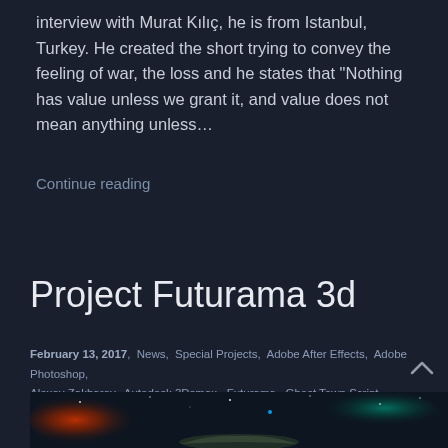interview with Murat Kılıç, he is from Istanbul, Turkey. He created the short trying to convey the feeling of war, the loss and he states that "Nothing has value unless we grant it, and value does not mean anything unless…
Continue reading
Project Futurama 3d
February 13, 2017,  News,  Special Projects,  Adobe After Effects,  Adobe Photoshop,  Alexey Zakharov,  Autodesk 3Dsmax,  Futurama,  Ghost Town Script,  Nuke,  Poly Fx Script,  0
[Figure (photo): Space scene with a car and colorful nebula, stars visible in background. Red/orange nebula on left, teal/green nebula on right, a vehicle silhouette at bottom.]